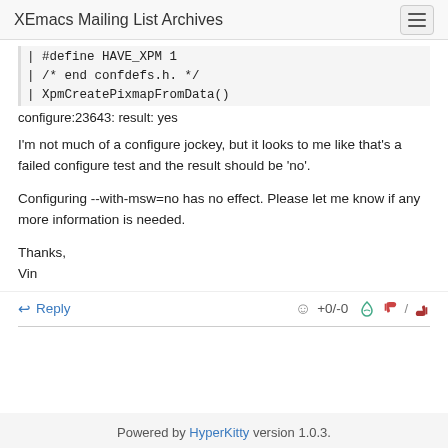XEmacs Mailing List Archives
| #define HAVE_XPM 1
| /* end confdefs.h. */
| XpmCreatePixmapFromData()
configure:23643: result: yes
I'm not much of a configure jockey, but it looks to me like that's a failed configure test and the result should be 'no'.
Configuring --with-msw=no has no effect. Please let me know if any more information is needed.
Thanks,
Vin
↩ Reply   😐 +0/-0  👍 / 👎
Powered by HyperKitty version 1.0.3.